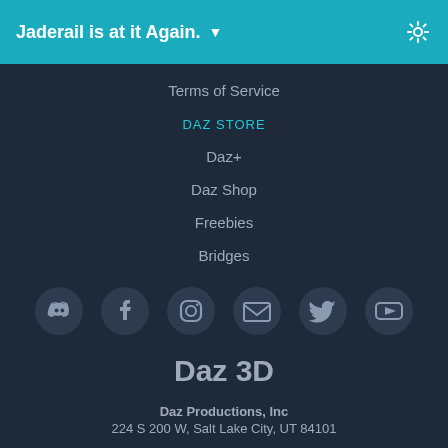Jaderail is at it Again.
Terms of Service
DAZ STORE
Daz+
Daz Shop
Freebies
Bridges
[Figure (infographic): Row of social media icons: Discord, Facebook, Instagram, Email, Twitter, YouTube]
Daz 3D
Daz Productions, Inc
224 S 200 W, Salt Lake City, UT 84101